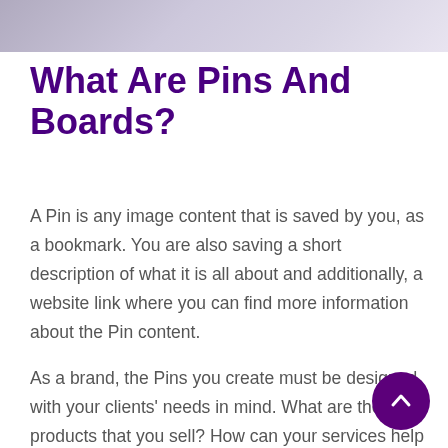[Figure (photo): Partial photo of a person at the top of the page, appearing as a cropped image strip]
What Are Pins And Boards?
A Pin is any image content that is saved by you, as a bookmark. You are also saving a short description of what it is all about and additionally, a website link where you can find more information about the Pin content.
As a brand, the Pins you create must be designed with your clients' needs in mind. What are the products that you sell? How can your services help your customers? Can you offer some information that your audience can